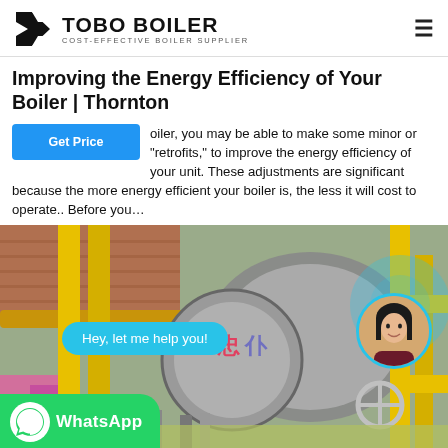TOBO BOILER — COST-EFFECTIVE BOILER SUPPLIER
Improving the Energy Efficiency of Your Boiler | Thornton
boiler, you may be able to make some minor or "retrofits," to improve the energy efficiency of your unit. These adjustments are significant because the more energy efficient your boiler is, the less it will cost to operate.. Before you…
[Figure (photo): Industrial boiler equipment with yellow pipes and cylindrical tank, with a chat overlay saying 'Hey, let me help you!', a WhatsApp badge, and a support agent avatar.]